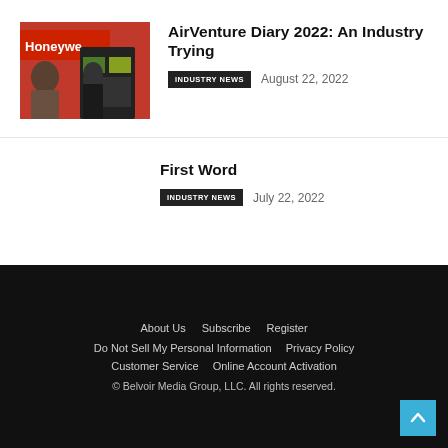[Figure (photo): Photo of people at a Honeywell display booth with screens showing map/navigation interfaces]
AirVenture Diary 2022: An Industry Trying
INDUSTRY NEWS   August 22, 2022
First Word
INDUSTRY NEWS   July 22, 2022
About Us   Subscribe   Register   Do Not Sell My Personal Information   Privacy Policy   Customer Service   Online Account Activation   © Belvoir Media Group, LLC. All rights reserved.